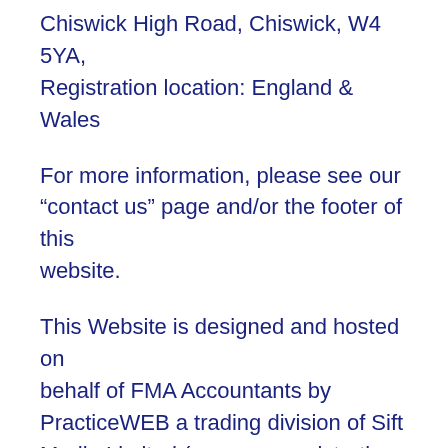Chiswick High Road, Chiswick, W4 5YA, Registration location: England & Wales
For more information, please see our “contact us” page and/or the footer of this website.
This Website is designed and hosted on behalf of FMA Accountants by PracticeWEB a trading division of Sift Media Limited (company registration number O5923499) a subsidiary of Sift Limited (company registration number O3230061) who provide some of the information which is on this Website. This